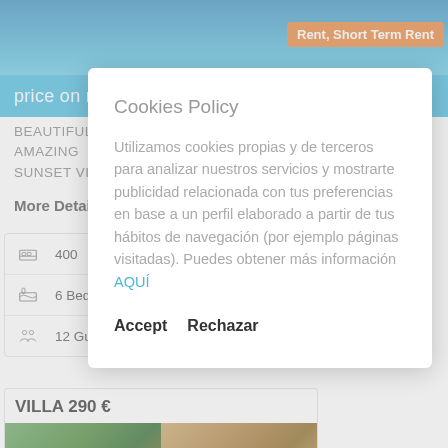[Figure (photo): Top portion of a swimming pool with blue water, viewed from above]
Rent, Short Term Rent
price on request - Villa
BEAUTIFUL MODERN VILLA WITH AMAZING SEA AND SUNSET VIEW
More Details ▶
400
6 Bedrooms
12 Guest
VILLA 290 €
[Figure (photo): Two property thumbnail images showing villa exterior with trees and stone buildings]
Cookies Policy
Utilizamos cookies propias y de terceros para analizar nuestros servicios y mostrarte publicidad relacionada con tus preferencias en base a un perfil elaborado a partir de tus hábitos de navegación (por ejemplo páginas visitadas). Puedes obtener más información AQUÍ
Accept
Rechazar